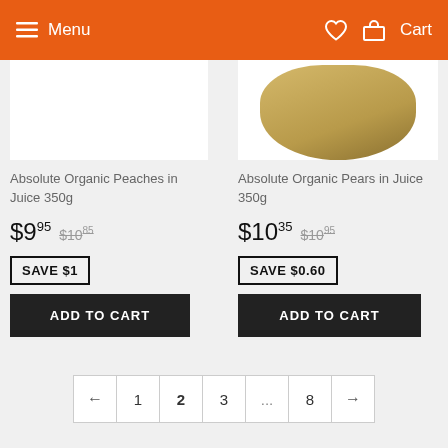Menu  Cart
Absolute Organic Peaches in Juice 350g
$9.95  $10.95
SAVE $1
ADD TO CART
Absolute Organic Pears in Juice 350g
$10.35  $10.95
SAVE $0.60
ADD TO CART
← 1 2 3 ... 8 →